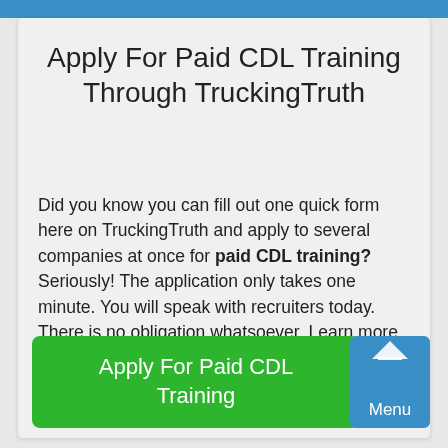Apply For Paid CDL Training Through TruckingTruth
Did you know you can fill out one quick form here on TruckingTruth and apply to several companies at once for paid CDL training? Seriously! The application only takes one minute. You will speak with recruiters today. There is no obligation whatsoever. Learn more and apply here:
Apply For Paid CDL Training
Menu